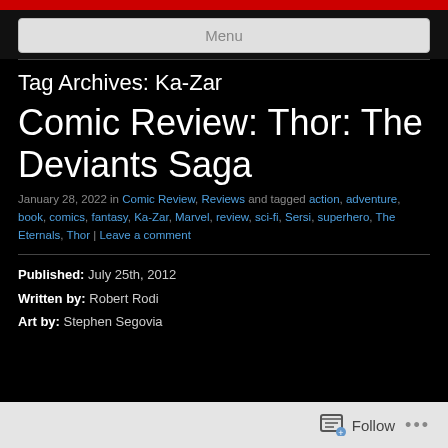Menu
Tag Archives: Ka-Zar
Comic Review: Thor: The Deviants Saga
January 28, 2022 in Comic Review, Reviews and tagged action, adventure, book, comics, fantasy, Ka-Zar, Marvel, review, sci-fi, Sersi, superhero, The Eternals, Thor | Leave a comment
Published: July 25th, 2012
Written by: Robert Rodi
Art by: Stephen Segovia
Follow ...